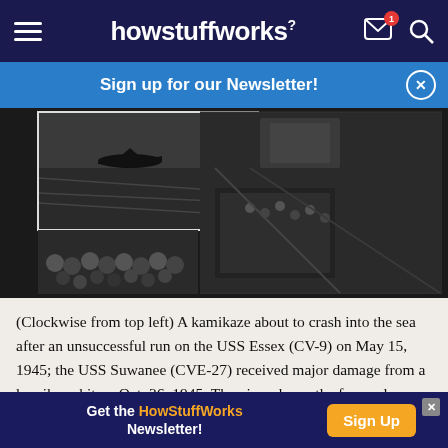howstuffworks
Sign up for our Newsletter!
[Figure (photo): Black and white photo collage: top left shows a kamikaze plane about to crash into the sea; bottom left shows a crowd of sailors at a funeral service; right side shows aerial view of damage to a ship's forward elevator well at hangar deck level.]
(Clockwise from top left) A kamikaze about to crash into the sea after an unsuccessful run on the USS Essex (CV-9) on May 15, 1945; the USS Suwanee (CVE-27) received major damage from a kamikaze hit on Oct. 26, 1945. The view shows the forward elevator well at the hangar deck level; funeral services were held for several men on the USS Kalanin Bay (CVE-68)
Get the HowStuffWorks Newsletter! Sign Up